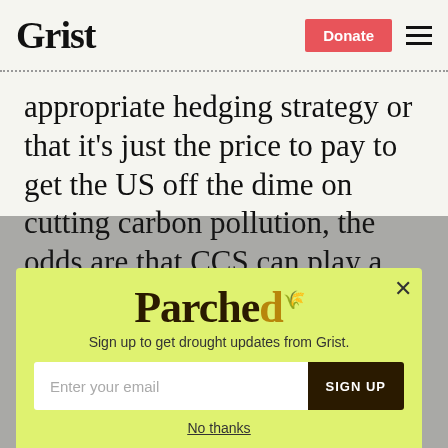Grist
appropriate hedging strategy or that it's just the price to pay to get the US off the dime on cutting carbon pollution, the odds are that CCS can play a positive role in helping us achieve our goals of moving the U.S. and the world to a cleaner energy future.
[Figure (screenshot): Parchea newsletter signup modal with yellow-green background, 'Parched' logo text, subtitle 'Sign up to get drought updates from Grist.', email input field, SIGN UP button, and 'No thanks' link.]